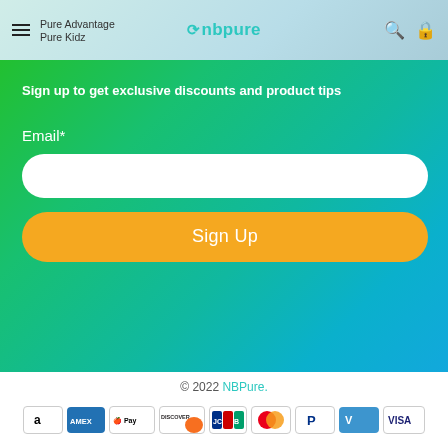Pure Advantage | Pure Kidz | nbpure logo
Sign up to get exclusive discounts and product tips
Email*
Sign Up
© 2022 NBPure.
[Figure (other): Payment method icons: Amazon, Amex, Apple Pay, Discover, JCB, Mastercard, PayPal, Venmo, Visa]